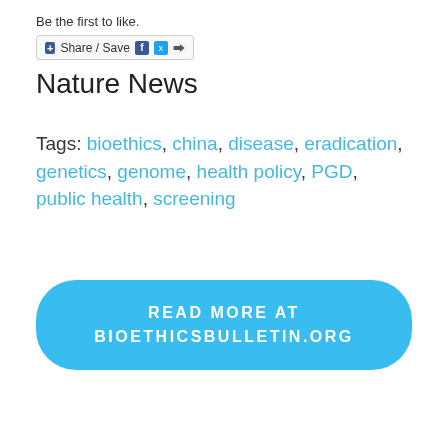Be the first to like.
[Figure (other): Share/Save button with Facebook, Twitter, and share icons]
Nature News
Tags: bioethics, china, disease, eradication, genetics, genome, health policy, PGD, public health, screening
[Figure (other): Blue rounded button: READ MORE AT BIOETHICSBULLETIN.ORG]